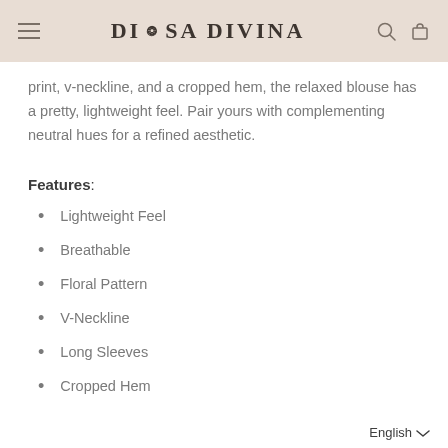DIOSA DIVINA
print, v-neckline, and a cropped hem, the relaxed blouse has a pretty, lightweight feel. Pair yours with complementing neutral hues for a refined aesthetic.
Features:
Lightweight Feel
Breathable
Floral Pattern
V-Neckline
Long Sleeves
Cropped Hem
English